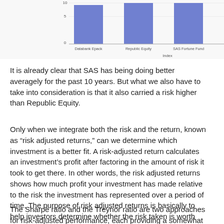[Figure (bar-chart): ]
It is already clear that SAS has being doing better averagely for the past 10 years. But what we also have to take into consideration is that it also carried a risk higher than Republic Equity.
Only when we integrate both the risk and the return, known as “risk adjusted returns,” can we determine which investment is a better fit. A risk-adjusted return calculates an investment’s profit after factoring in the amount of risk it took to get there. In other words, the risk adjusted returns shows how much profit your investment has made relative to the risk the investment has represented over a period of time. The purpose of risk adjusted returns is basically to help investors determine whether the risk taken is worth the reward.
The Sharpe ratio and the Treynor ratio are two approaches for risk-adjusted performance, each providing a somewhat